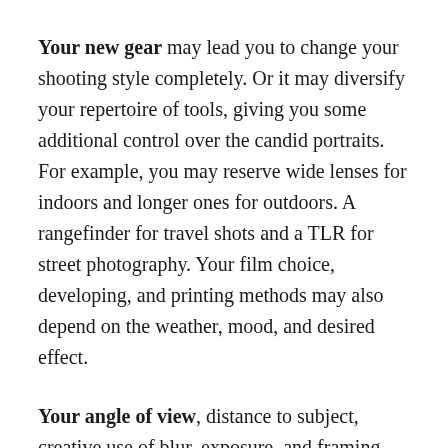Your new gear may lead you to change your shooting style completely. Or it may diversify your repertoire of tools, giving you some additional control over the candid portraits. For example, you may reserve wide lenses for indoors and longer ones for outdoors. A rangefinder for travel shots and a TLR for street photography. Your film choice, developing, and printing methods may also depend on the weather, mood, and desired effect.
Your angle of view, distance to subject, creative use of blur, exposure, and framing can give you options you did not know you had.
Or you can do the opposite and limit yourself